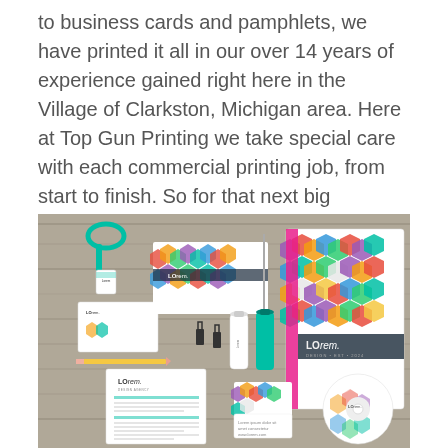to business cards and pamphlets, we have printed it all in our over 14 years of experience gained right here in the Village of Clarkston, Michigan area. Here at Top Gun Printing we take special care with each commercial printing job, from start to finish. So for that next big commercial printing job come do things the Top Gun Printing way.
[Figure (photo): A flat-lay photograph of branded stationery and print materials arranged on a wooden surface, including business cards, brochures, a notebook with colorful hexagon pattern, a lanyard, pencil, binder clips, a pen, water bottle, USB drive, letterhead, CD, and other branded items all featuring a 'Lorem' brand with colorful hexagonal design elements.]